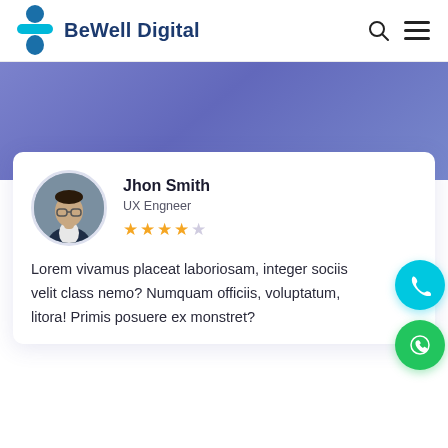BeWell Digital
[Figure (screenshot): BeWell Digital website screenshot showing logo, navigation header with search and menu icons, purple hero band, and a reviewer card for Jhon Smith (UX Engineer, 4-star rating) with review text beginning 'Lorem vivamus placeat laboriosam, integer sociis velit class nemo? Numquam officiis, voluptatum, litora! Primis posuere ex monstret? Nisi, felis? Mollitia dictum nis lerons']